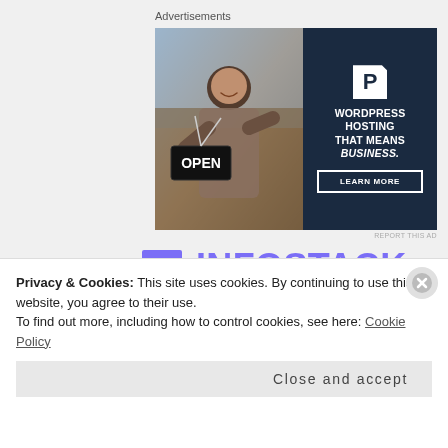Advertisements
[Figure (photo): WordPress hosting advertisement banner. Left half shows a photo of a smiling woman holding an OPEN sign in a shop doorway. Right half is dark navy with a 'P' logo, bold white text reading 'WORDPRESS HOSTING THAT MEANS BUSINESS.' and a 'LEARN MORE' button with white border.]
REPORT THIS AD
[Figure (logo): INFOSTACK logo with stacked book/card icon in purple and teal, followed by the text INFOSTACK in large purple letters]
Privacy & Cookies: This site uses cookies. By continuing to use this website, you agree to their use.
To find out more, including how to control cookies, see here: Cookie Policy
Close and accept